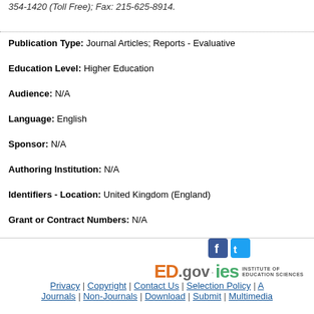354-1420 (Toll Free); Fax: 215-625-8914.
Publication Type: Journal Articles; Reports - Evaluative
Education Level: Higher Education
Audience: N/A
Language: English
Sponsor: N/A
Authoring Institution: N/A
Identifiers - Location: United Kingdom (England)
Grant or Contract Numbers: N/A
[Figure (logo): ED.gov IES Institute of Education Sciences logo with Facebook and Twitter icons]
Privacy | Copyright | Contact Us | Selection Policy | A | Journals | Non-Journals | Download | Submit | Multimedia